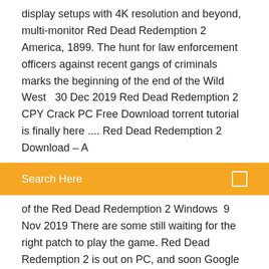display setups with 4K resolution and beyond, multi-monitor Red Dead Redemption 2 America, 1899. The hunt for law enforcement officers against recent gangs of criminals marks the beginning of the end of the Wild West  30 Dec 2019 Red Dead Redemption 2 CPY Crack PC Free Download torrent tutorial is finally here .... Red Dead Redemption 2 Download – A
Search Here
of the Red Dead Redemption 2 Windows  9 Nov 2019 There are some still waiting for the right patch to play the game. Red Dead Redemption 2 is out on PC, and soon Google Stadia. Rockstar
Red Dead Redemption 2 : Cracker le jeu, est-ce possible ... Sorti depuis maintenant près d'un mois sur PC via le launcher Rockstar, Red Dead Redemption 2 est uniquement disponible à l'achat. En effet il n'existe pas encore à ce jour de crack du jeu. Ce qui n'est pas étonnant étant donné l'ampleur du projet.